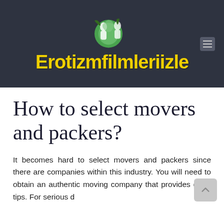[Figure (logo): Website logo for Erotizmfilmleriizle with a green and white decorative icon above yellow bold text on dark background]
How to select movers and packers?
It becomes hard to select movers and packers since there are companies within this industry. You will need to obtain an authentic moving company that provides great tips. For serious d...